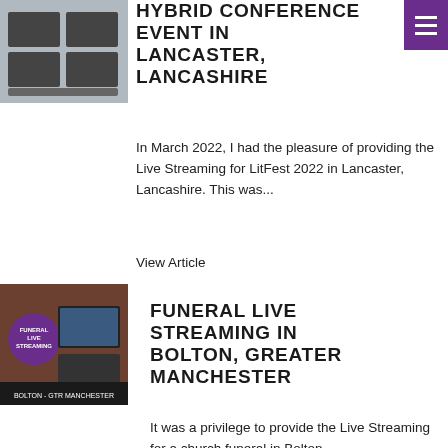[Figure (photo): Photo of hybrid conference setup with streaming equipment, monitors and keyboards in a conference room]
HYBRID CONFERENCE EVENT IN LANCASTER, LANCASHIRE
In March 2022, I had the pleasure of providing the Live Streaming for LitFest 2022 in Lancaster, Lancashire. This was...
View Article
[Figure (photo): Photo of funeral live streaming setup with monitors, a laptop, and a purple circular logo reading Funeral Live Streaming. Text overlay: Bolton - GTR Manchester]
FUNERAL LIVE STREAMING IN BOLTON, GREATER MANCHESTER
It was a privilege to provide the Live Streaming for a church funeral in Bolton,